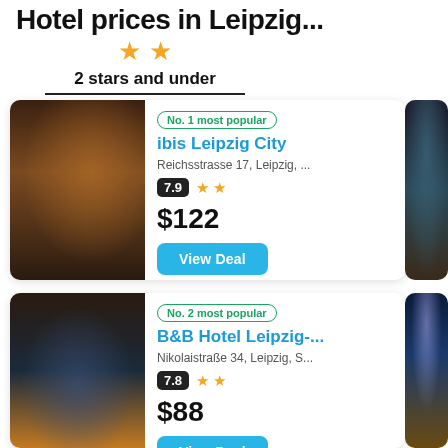Hotel prices in Leipzig...
2 stars and under
No. 1 most popular
ibis Leipzig City
Reichsstrasse 17, Leipzig, ...
7.9 ★★
$122
View Deal
No. 2 most popular
B&B Hotel Leipzig-...
Nikolaistraße 34, Leipzig, S...
7.8 ★★
$88
View Deal